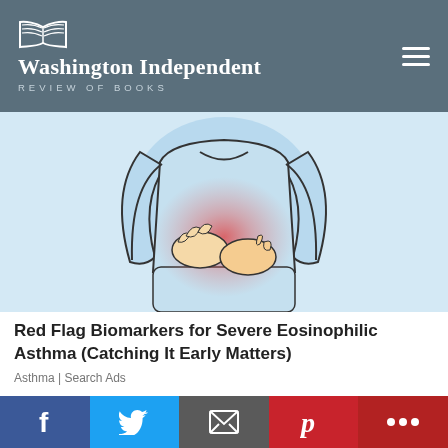Washington Independent REVIEW OF BOOKS
[Figure (illustration): Illustration of a person holding their abdomen in pain, with a red glow indicating the pain area, wearing a light blue long-sleeve top]
Red Flag Biomarkers for Severe Eosinophilic Asthma (Catching It Early Matters)
Asthma | Search Ads
[Figure (photo): Partial view of a second article image with yellow background]
f  Twitter  Email  p  +